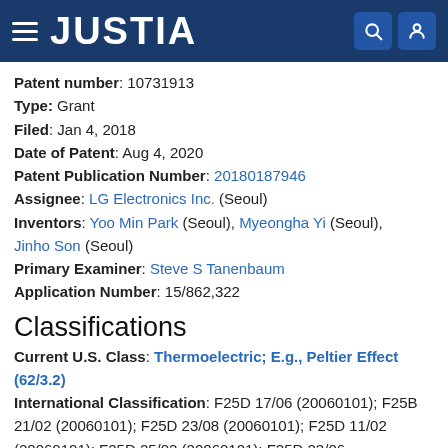JUSTIA
Patent number: 10731913
Type: Grant
Filed: Jan 4, 2018
Date of Patent: Aug 4, 2020
Patent Publication Number: 20180187946
Assignee: LG Electronics Inc. (Seoul)
Inventors: Yoo Min Park (Seoul), Myeongha Yi (Seoul), Jinho Son (Seoul)
Primary Examiner: Steve S Tanenbaum
Application Number: 15/862,322
Classifications
Current U.S. Class: Thermoelectric; E.g., Peltier Effect (62/3.2)
International Classification: F25D 17/06 (20060101); F25B 21/02 (20060101); F25D 23/08 (20060101); F25D 11/02 (20060101); F25D 25/02 (20060101); F25D 23/06